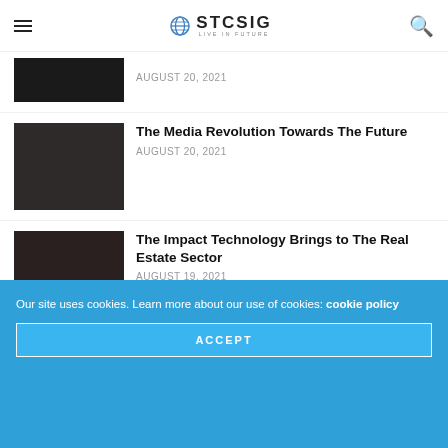STCSIG
The Media Revolution Towards The Future — AUGUST 20, 2021
The Impact Technology Brings to The Real Estate Sector — AUGUST 19, 2021
How Modern Technologies Help Mother Care — AUGUST 19, 2021
Technology (ICT) That Carry Oil and Gas Industries — AUGUST 19, 2021
Our site uses cookies. Learn more about our use of cookies: cookie policy
ACCEPT